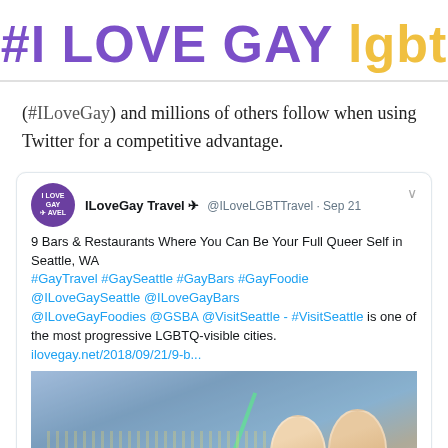[Figure (logo): #I LOVE GAY lgbt logo with purple text for '#I LOVE GAY' and gold/yellow text for 'lgbt']
(#ILoveGay) and millions of others follow when using Twitter for a competitive advantage.
[Figure (screenshot): Screenshot of a tweet by ILoveGay Travel @ILoveLGBTTravel from Sep 21. Tweet text: 9 Bars & Restaurants Where You Can Be Your Full Queer Self in Seattle, WA #GayTravel #GaySeattle #GayBars #GayFoodie @ILoveGaySeattle @ILoveGayBars @ILoveGayFoodies @GSBA @VisitSeattle - #VisitSeattle is one of the most progressive LGBTQ-visible cities. ilovegay.net/2018/09/21/9-b... with an attached image of a city skyline at night with two smiling people.]